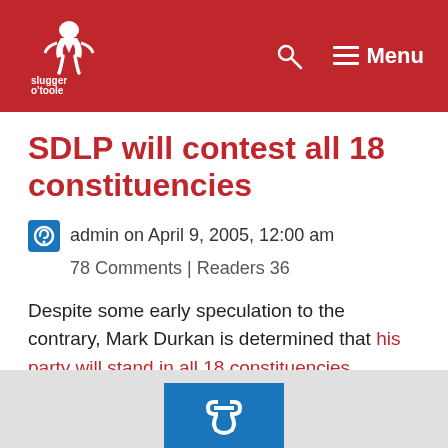slugger o'toole — Menu
SDLP will contest all 18 constituencies
admin on April 9, 2005, 12:00 am
78 Comments | Readers 36
Despite some early speculation to the contrary, Mark Durkan is determined that his party will stand in all 18 constituencies.
[Figure (logo): Blue square logo with white power/link symbol]